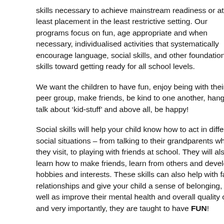skills necessary to achieve mainstream readiness or at least placement in the least restrictive setting. Our programs focus on fun, age appropriate and when necessary, individualised activities that systematically encourage language, social skills, and other foundational skills toward getting ready for all school levels.
We want the children to have fun, enjoy being with their peer group, make friends, be kind to one another, hang-out, talk about ‘kid-stuff’ and above all, be happy!
Social skills will help your child know how to act in different social situations – from talking to their grandparents when they visit, to playing with friends at school. They will also learn how to make friends, learn from others and develop hobbies and interests. These skills can also help with family relationships and give your child a sense of belonging, as well as improve their mental health and overall quality of life and very importantly, they are taught to have FUN!
The Social Clubs run for 3 hours a session during school terms (10 weeks) and include snack time and a main meal,